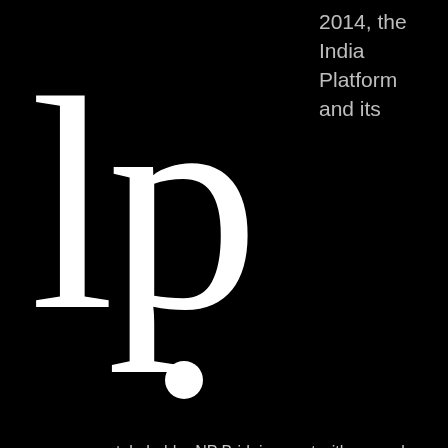[Figure (logo): Large white 'lp' logo mark on black background]
2014, the India Platform and its
stakeholder NP Bridging, met with several representatives of the...
|  |  |
| --- | --- |
| When: | 6 June, 2014 - 10 June, 2014 |
| Focus Domain: | Liveable Cities |
| Event Type: | Visit to India, For Business, Stakeholders Activity |